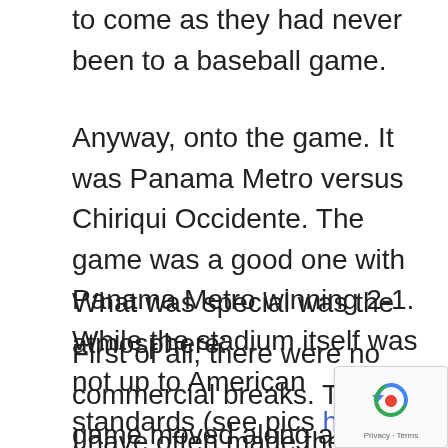to come as they had never been to a baseball game.
Anyway, onto the game. It was Panama Metro versus Chiriqui Occidente. The game was a good one with Panama Metro winning 2-1. While the stadium itself was not up to American standards (see pics here and here).
What was special was the atmosphere:
First of all, there were no commercial breaks. The game moved along at its natural speed. The more important point, however, was the Panamanian flair brought to the experienc
I have often made the point that baseball is a